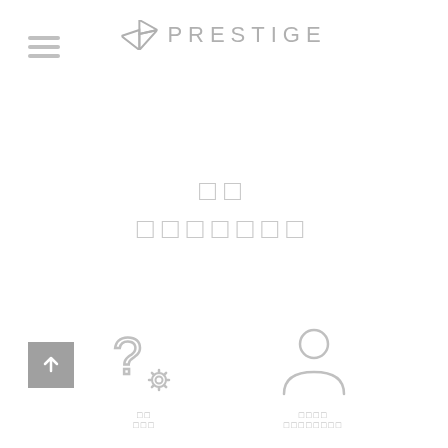PRESTIGE
□□ □□□□□□□
[Figure (illustration): Question mark with gear icon representing support/help settings]
□□ □□□
[Figure (illustration): Person/user silhouette icon representing account/profile]
□□□□ □□□□□□□□